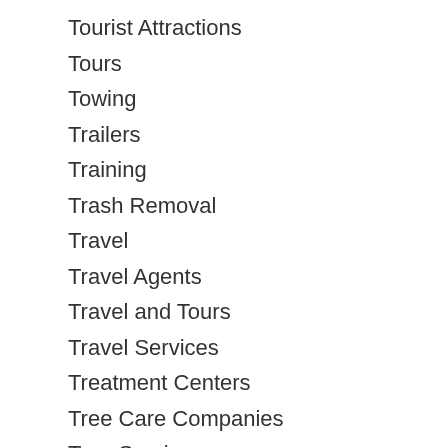Tourist Attractions
Tours
Towing
Trailers
Training
Trash Removal
Travel
Travel Agents
Travel and Tours
Travel Services
Treatment Centers
Tree Care Companies
Tree Services
Tutoring
Upholstery